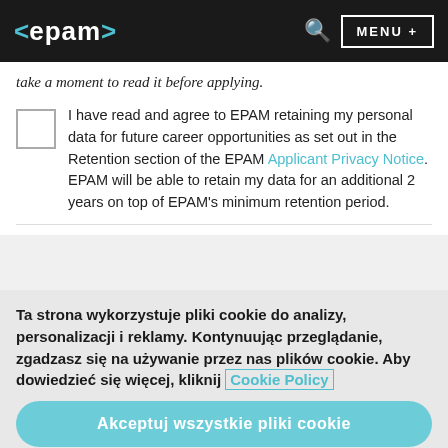<epam> MENU +
take a moment to read it before applying.
I have read and agree to EPAM retaining my personal data for future career opportunities as set out in the Retention section of the EPAM Applicant Privacy Notice. EPAM will be able to retain my data for an additional 2 years on top of EPAM's minimum retention period.
Ta strona wykorzystuje pliki cookie do analizy, personalizacji i reklamy. Kontynuując przeglądanie, zgadzasz się na używanie przez nas plików cookie. Aby dowiedzieć się więcej, kliknij Cookie Policy
Akceptuj wszystkie pliki cookie
Ustawienia plików cookie